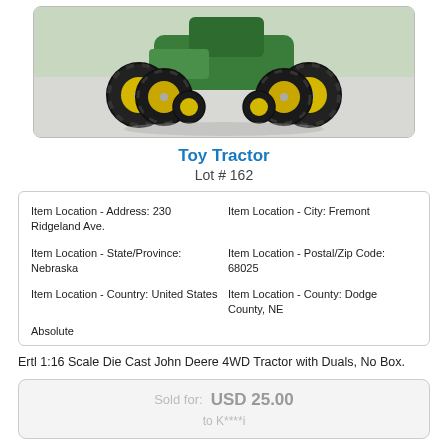[Figure (photo): Photo of a toy John Deere 4WD tractor with dual wheels, green body and yellow rims, shown from front-low angle on white background]
Toy Tractor
Lot # 162
| Item Location - Address: 230 Ridgeland Ave. | Item Location - City: Fremont |
| Item Location - State/Province: Nebraska | Item Location - Postal/Zip Code: 68025 |
| Item Location - Country: United States | Item Location - County: Dodge County, NE |
| Absolute |  |
Ertl 1:16 Scale Die Cast John Deere 4WD Tractor with Duals, No Box.
Sold for: USD 25.00
to K****i